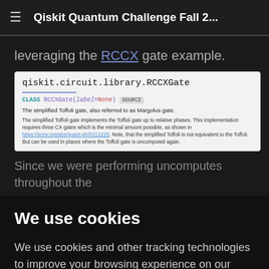Qiskit Quantum Challenge Fall 2...
leveraging the RCCX gate example.
[Figure (screenshot): Screenshot of Qiskit documentation for qiskit.circuit.library.RCCXGate. Shows CLASS RCCXGate(label=None) [SOURCE]. Description: The simplified Toffoli gate, also referred to as Margolus gate. Details about the simplified Toffoli gate implementing the Toffoli gate up to relative phases requiring three CX gates.]
Since we were performing uncomputes throughout the
We use cookies
We use cookies and other tracking technologies to improve your browsing experience on our website, to show you personalized content and targeted ads, to analyze our website traffic, and